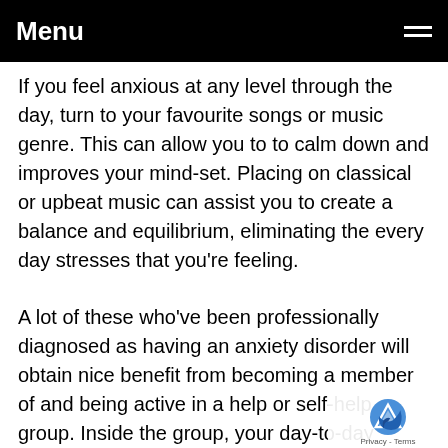Menu
If you feel anxious at any level through the day, turn to your favourite songs or music genre. This can allow you to to calm down and improves your mind-set. Placing on classical or upbeat music can assist you to create a balance and equilibrium, eliminating the every day stresses that you're feeling.
A lot of these who've been professionally diagnosed as having an anxiety disorder will obtain nice benefit from becoming a member of and being active in a help or self-help group. Inside the group, your day-to-day issues, plus private achievements, may be shared with those that perceive best, the ramifications of this